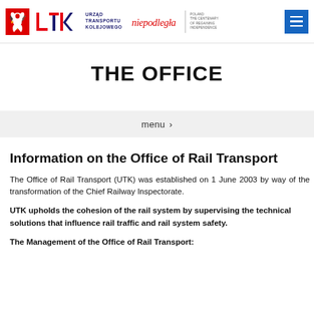UTK - Urząd Transportu Kolejowego | Niepodległa logo | Menu button
THE OFFICE
menu >
Information on the Office of Rail Transport
The Office of Rail Transport (UTK) was established on 1 June 2003 by way of the transformation of the Chief Railway Inspectorate.
UTK upholds the cohesion of the rail system by supervising the technical solutions that influence rail traffic and rail system safety.
The Management of the Office of Rail Transport: